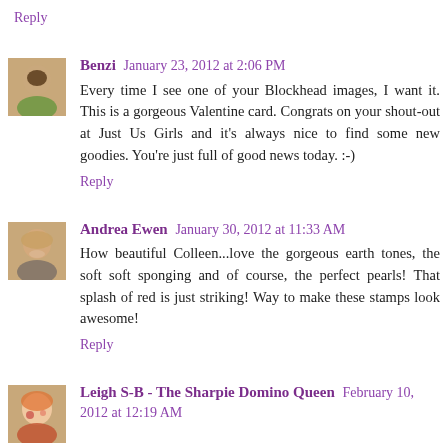Reply
Benzi  January 23, 2012 at 2:06 PM
Every time I see one of your Blockhead images, I want it. This is a gorgeous Valentine card. Congrats on your shout-out at Just Us Girls and it's always nice to find some new goodies. You're just full of good news today. :-)
Reply
Andrea Ewen  January 30, 2012 at 11:33 AM
How beautiful Colleen...love the gorgeous earth tones, the soft soft sponging and of course, the perfect pearls! That splash of red is just striking! Way to make these stamps look awesome!
Reply
Leigh S-B - The Sharpie Domino Queen  February 10, 2012 at 12:19 AM